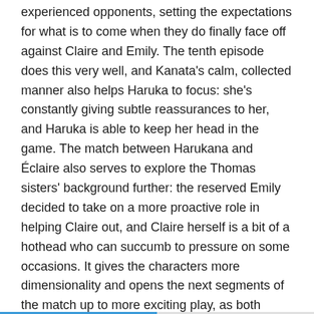experienced opponents, setting the expectations for what is to come when they do finally face off against Claire and Emily. The tenth episode does this very well, and Kanata's calm, collected manner also helps Haruka to focus: she's constantly giving subtle reassurances to her, and Haruka is able to keep her head in the game. The match between Harukana and Éclaire also serves to explore the Thomas sisters' background further: the reserved Emily decided to take on a more proactive role in helping Claire out, and Claire herself is a bit of a hothead who can succumb to pressure on some occasions. It gives the characters more dimensionality and opens the next segments of the match up to more exciting play, as both Harukana and Éclaire strive to win.
Screenshots and Commentary